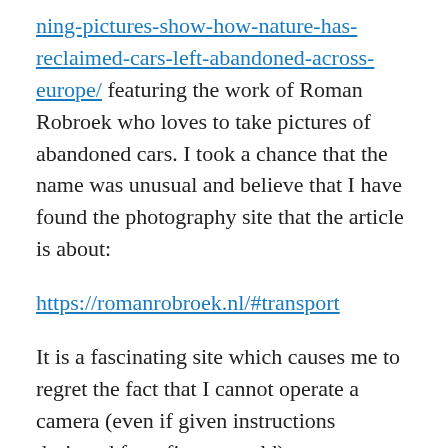ning-pictures-show-how-nature-has-reclaimed-cars-left-abandoned-across-europe/ featuring the work of Roman Robroek who loves to take pictures of abandoned cars. I took a chance that the name was unusual and believe that I have found the photography site that the article is about:
https://romanrobroek.nl/#transport
It is a fascinating site which causes me to regret the fact that I cannot operate a camera (even if given instructions designed for a five year old).
Some of the pictures are truly beautiful. In the